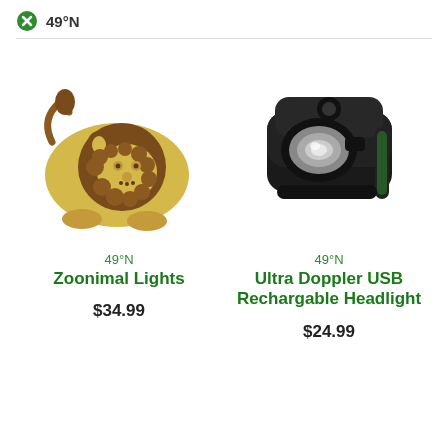49°N
[Figure (photo): Cute lion-shaped Zoonimal bicycle light in yellow and brown]
49°N
Zoonimal Lights
$34.99
[Figure (photo): Black Ultra Doppler USB Rechargeable headlight for bicycle]
49°N
Ultra Doppler USB Rechargable Headlight
$24.99